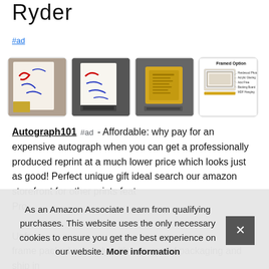Ryder
#ad
[Figure (photo): Four thumbnail product images showing autographed scripts and a framed option diagram]
Autograph101 #ad - Affordable: why pay for an expensive autograph when you can get a professionally produced reprint at a much lower price which looks just as good! Perfect unique gift ideal search our amazon storefront for other prints featuring your favourite star. Professionally Printed...
Unframed... frame packed securely with waterproof packaging and ship in
As an Amazon Associate I earn from qualifying purchases. This website uses the only necessary cookies to ensure you get the best experience on our website. More information